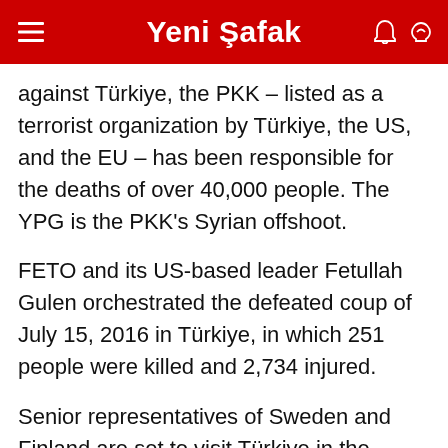Yeni Şafak
against Türkiye, the PKK – listed as a terrorist organization by Türkiye, the US, and the EU – has been responsible for the deaths of over 40,000 people. The YPG is the PKK's Syrian offshoot.
FETO and its US-based leader Fetullah Gulen orchestrated the defeated coup of July 15, 2016 in Türkiye, in which 251 people were killed and 2,734 injured.
Senior representatives of Sweden and Finland are set to visit Türkiye in the coming days to hold official talks in Ankara to discuss their NATO membership bids, spurred by